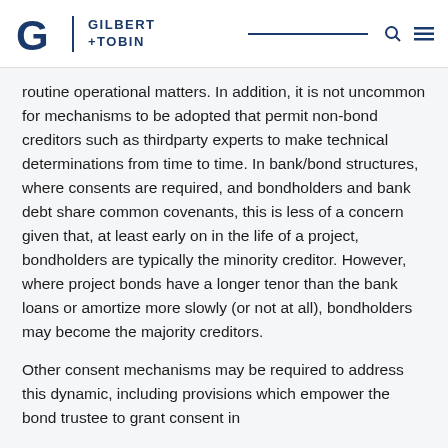Gilbert + Tobin
routine operational matters. In addition, it is not uncommon for mechanisms to be adopted that permit non-bond creditors such as thirdparty experts to make technical determinations from time to time. In bank/bond structures, where consents are required, and bondholders and bank debt share common covenants, this is less of a concern given that, at least early on in the life of a project, bondholders are typically the minority creditor. However, where project bonds have a longer tenor than the bank loans or amortize more slowly (or not at all), bondholders may become the majority creditors.
Other consent mechanisms may be required to address this dynamic, including provisions which empower the bond trustee to grant consent in